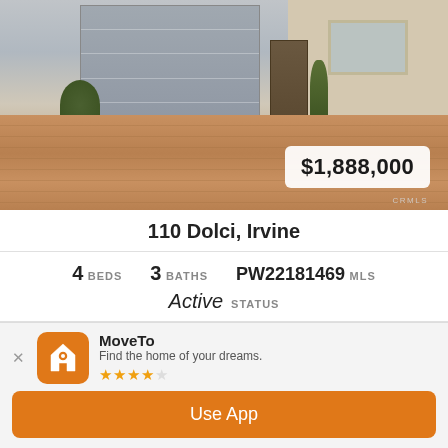[Figure (photo): Exterior photo of a residential home with gray garage door, front door, and brick driveway. Price badge showing $1,888,000 overlaid on bottom right.]
110 Dolci, Irvine
4 BEDS   3 BATHS   PW22181469 MLS   Active STATUS
RARE - Highly Upgraded Detached Home located in the prestigious guard-gated Reserve @ Orchard Hills community! 4 Bedrooms + 3 Full Bathrooms Lago floor plan built by Irvi...
MoveTo
Find the home of your dreams.
★★★★☆
Use App